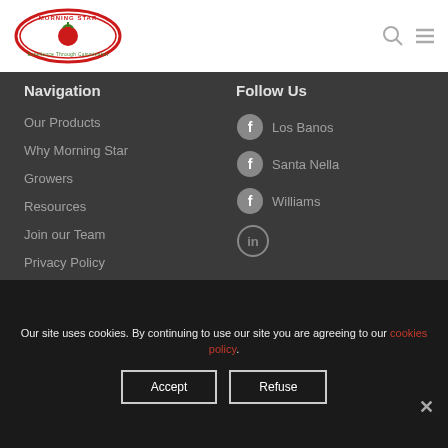[Figure (logo): Morning Star logo — red oval with tomato illustration, text 'MORNING STAR' and 'Excellence Through Commitment']
[Figure (illustration): Search icon (magnifying glass) and hamburger menu icon in gray]
Navigation
Our Products
Why Morning Star
Growers
Resources
Join our Team
Privacy Policy
Contact Us
Follow Us
Los Banos
Santa Nella
Williams
[Figure (logo): LinkedIn icon circle with 'in']
Colleagues
[Figure (illustration): Partially visible icon/logo at the bottom of the Colleagues section]
Our site uses cookies. By continuing to use our site you are agreeing to our cookies policy.
Accept
Refuse